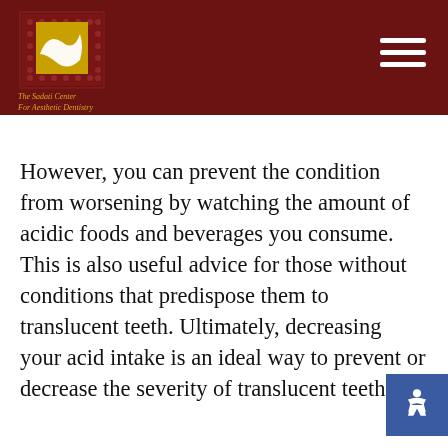[Figure (logo): The Sadati Center For Aesthetic Dentistry logo with wave emblem on dark red background with hamburger menu icon]
However, you can prevent the condition from worsening by watching the amount of acidic foods and beverages you consume. This is also useful advice for those without conditions that predispose them to translucent teeth. Ultimately, decreasing your acid intake is an ideal way to prevent or decrease the severity of translucent teeth.